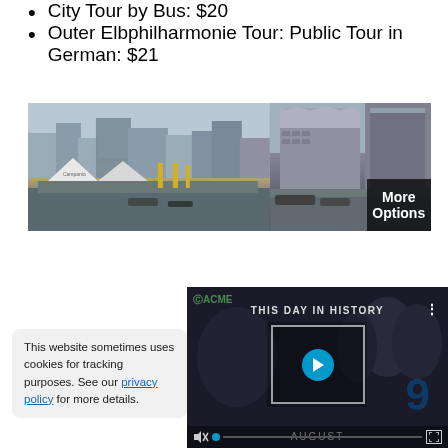City Tour by Bus: $20
Outer Elbphilharmonie Tour: Public Tour in German: $21
[Figure (photo): Panoramic photo of Hamburg harbor/HafenCity with buildings, docks, tents, and a 'More Options' overlay banner on the right side]
[Figure (screenshot): Video player showing 'THIS DAY IN HISTORY' with a play button, the number 9, and AUGUST label, with video controls at bottom]
This website sometimes uses cookies for tracking purposes. See our privacy policy for more details.